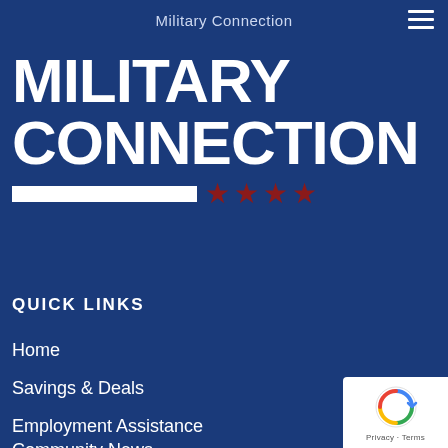Military Connection
[Figure (logo): Military Connection logo with bold white uppercase text 'MILITARY CONNECTION' on dark blue background, white bar and red stars beneath]
QUICK LINKS
Home
Savings & Deals
Employment Assistance
Community News